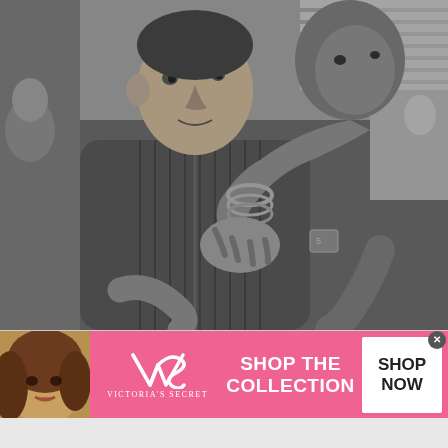[Figure (photo): Black and white photograph of children. A young boy in a ribbed zip-up jacket is in the foreground, looking at the camera. Another child has their arm around the boy's shoulder from behind. Several other children are visible in the background.]
[Figure (photo): Victoria's Secret advertisement banner. Left side shows a woman model with curly hair on a warm-toned background. Center has the Victoria's Secret VS logo and brand name in white on pink background. Right side shows text 'SHOP THE COLLECTION' in bold white on pink. Far right is a white button with 'SHOP NOW' in bold black text.]